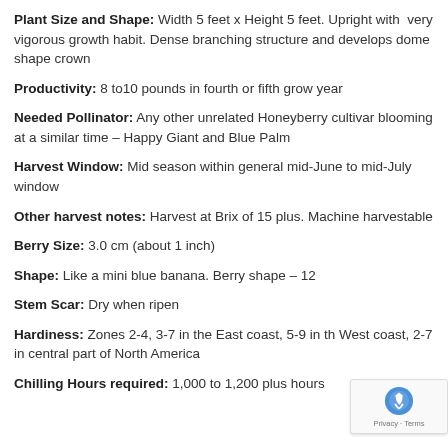Plant Size and Shape: Width 5 feet x Height 5 feet. Upright with very vigorous growth habit. Dense branching structure and develops dome shape crown
Productivity: 8 to10 pounds in fourth or fifth grow year
Needed Pollinator: Any other unrelated Honeyberry cultivar blooming at a similar time – Happy Giant and Blue Palm
Harvest Window: Mid season within general mid-June to mid-July window
Other harvest notes: Harvest at Brix of 15 plus. Machine harvestable
Berry Size: 3.0 cm (about 1 inch)
Shape: Like a mini blue banana. Berry shape – 12
Stem Scar: Dry when ripen
Hardiness: Zones 2-4, 3-7 in the East coast, 5-9 in the West coast, 2-7 in central part of North America
Chilling Hours required: 1,000 to 1,200 plus hours